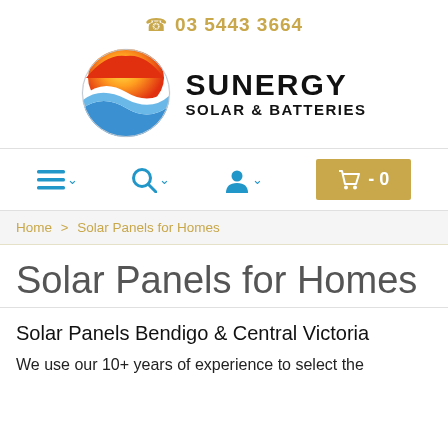03 5443 3664
[Figure (logo): Sunergy Solar & Batteries logo: circular globe icon with orange/red/white/blue wave design, next to bold text SUNERGY SOLAR & BATTERIES]
[Figure (screenshot): Navigation bar with hamburger menu, search icon, user icon, and gold cart button showing -0]
Home > Solar Panels for Homes
Solar Panels for Homes
Solar Panels Bendigo & Central Victoria
We use our 10+ years of experience to select the